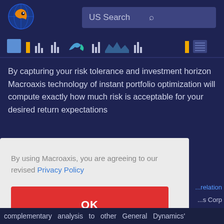[Figure (logo): Macroaxis globe logo — orange and blue circular icon]
US Search
[Figure (screenshot): Navigation banner strip with chart thumbnail icons on dark blue background]
By capturing your risk tolerance and investment horizon Macroaxis technology of instant portfolio optimization will compute exactly how much risk is acceptable for your desired return expectations
By using Macroaxis, you are agreeing to our revised Privacy Policy
OK
relation
s Corp
as a
complementary analysis to other General Dynamics'